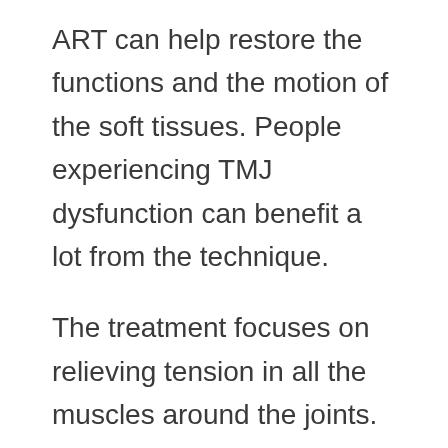ART can help restore the functions and the motion of the soft tissues. People experiencing TMJ dysfunction can benefit a lot from the technique.
The treatment focuses on relieving tension in all the muscles around the joints. Also, active release technique addresses TMJ pain by fixing the misalignment between the spine and the nervous system. ART adjustments on TMJ often use trigger points to relax and adjust the muscles. They also help to reposition your jaw and reduce the pain completely. Besides, the approach does not just reduce the pain in a